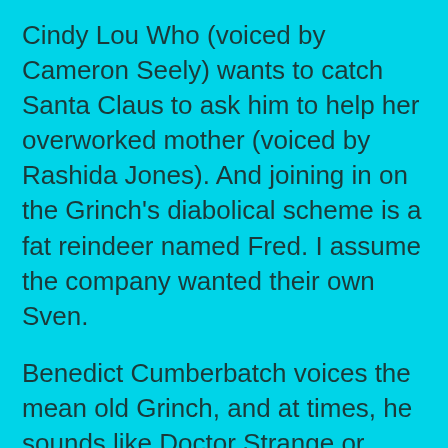Cindy Lou Who (voiced by Cameron Seely) wants to catch Santa Claus to ask him to help her overworked mother (voiced by Rashida Jones). And joining in on the Grinch's diabolical scheme is a fat reindeer named Fred. I assume the company wanted their own Sven.

Benedict Cumberbatch voices the mean old Grinch, and at times, he sounds like Doctor Strange or Smaug on a Nick Jr. show. He's sounds like he's having fun voicing the Grinch. He's joyfully animated, and his mean-spirited humor is not like the obnoxious Jim Carrey role, but more like Gru from the first “Despicable Me.”